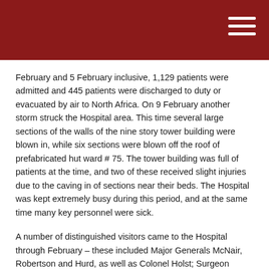February and 5 February inclusive, 1,129 patients were admitted and 445 patients were discharged to duty or evacuated by air to North Africa. On 9 February another storm struck the Hospital area. This time several large sections of the walls of the nine story tower building were blown in, while six sections were blown off the roof of prefabricated hut ward # 75. The tower building was full of patients at the time, and two of these received slight injuries due to the caving in of sections near their beds. The Hospital was kept extremely busy during this period, and at the same time many key personnel were sick.
A number of distinguished visitors came to the Hospital through February – these included Major Generals McNair, Robertson and Hurd, as well as Colonel Holst; Surgeon General of the Norwegian Army. A total of 515 surgical procedures were performed and 151 casts applied. The